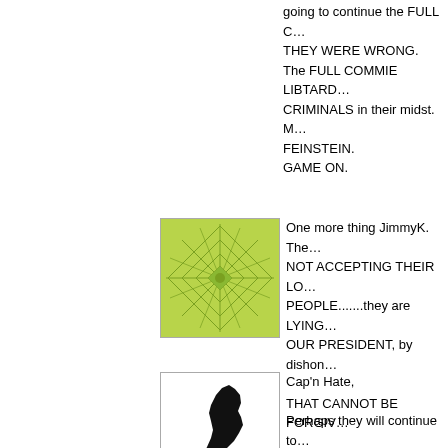going to continue the FULL C… THEY WERE WRONG. The FULL COMMIE LIBTARD… CRIMINALS in their midst. M… FEINSTEIN.
GAME ON.
[Figure (illustration): Square avatar with green geometric sunburst/snowflake pattern on light green background]
One more thing JimmyK. The… NOT ACCEPTING THEIR LO… PEOPLE.......they are LYING… OUR PRESIDENT, by dishon… THAT CANNOT BE FORGIV…
[Figure (illustration): Square avatar with black silhouette of New Jersey state shape on white background]
Cap'n Hate,

Perhaps they will continue to… also be investigated more clo…